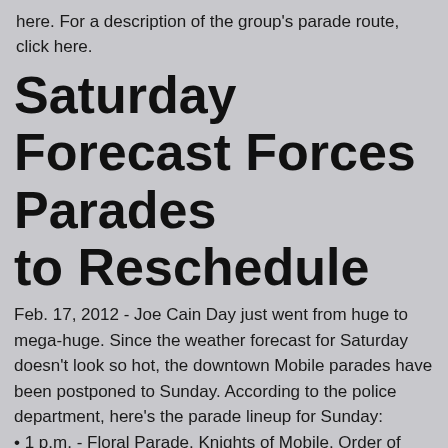here. For a description of the group's parade route, click here.
Saturday Forecast Forces Parades to Reschedule
Feb. 17, 2012 - Joe Cain Day just went from huge to mega-huge. Since the weather forecast for Saturday doesn't look so hot, the downtown Mobile parades have been postponed to Sunday. According to the police department, here's the parade lineup for Sunday:
• 1 p.m. - Floral Parade, Knights of Mobile, Order of Angels
• 2 p.m. - King Elexis I Parade
• 2:30 p.m. - Joe Cain Procession
• 5 p.m. - Le Krewe de Bienville
• (cut off)